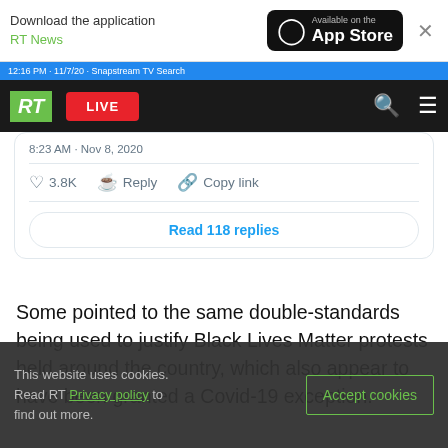[Figure (screenshot): RT News website screenshot showing an app store download banner, RT navigation bar with LIVE button, a partial Twitter/X embed with 3.8K likes and 'Read 118 replies' button, article body text, and a cookie consent banner.]
Download the application RT News
Available on the App Store
12:16 PM · 11/7/20 · Snapstream TV Search
LIVE
3.8K   Reply   Copy link
Read 118 replies
Some pointed to the same double-standards being used to justify Black Lives Matter protests held around the country, which also appear to have been granted a Covid-19 exception.
This website uses cookies. Read RT Privacy policy to find out more.
Accept cookies